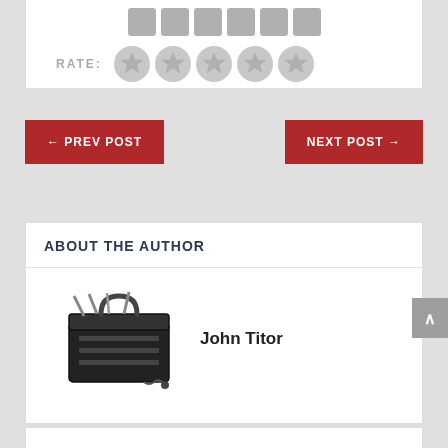[Figure (infographic): Rating widget with RATE: label and 5 grey star icons]
← PREV POST
NEXT POST →
ABOUT THE AUTHOR
[Figure (illustration): Black and white illustration of a toolbox]
John Titor